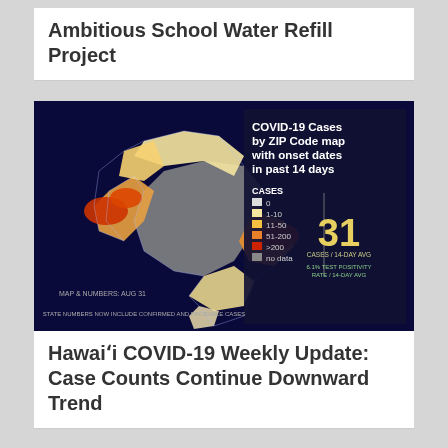Ambitious School Water Refill Project
[Figure (map): COVID-19 Cases by ZIP Code map of Hawaii Island with onset dates in past 14 days, showing color-coded zones (0, 1-10, 11-50, 51-200, >200, no data). MAP & NUMBERS: AUG 31. 31 CASES / 14-DAY AVG. 6.1% TEST POSITIVITY RATE / 14-DAY AVG. STATE NUMBERS NOW INCLUDE CONFIRMED AND PROBABLE CASES.]
Hawaiʻi COVID-19 Weekly Update: Case Counts Continue Downward Trend
[Figure (photo): Judiciary News banner with circular seal logo and NEWS text in large white letters on dark blue background]